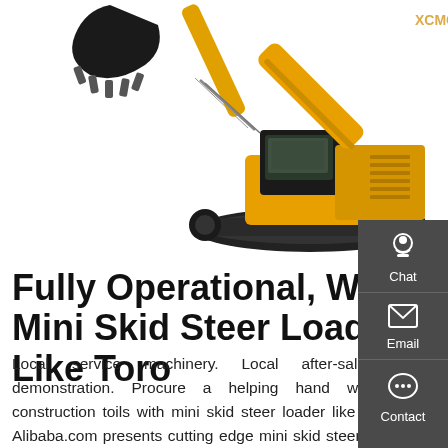[Figure (photo): Large yellow excavator/crawler with boom and bucket arm raised, shown on white background. Text 'XCMG' partially visible on machine.]
Fully Operational, Wheel Mini Skid Steer Loader Like Toro
Local service machinery. Local after-sales. Local demonstration. Procure a helping hand while tough construction toils with mini skid steer loader like toro dingo. Alibaba.com presents cutting edge mini skid steer loader like toro dingo to all the retailers and wholesalers out there.